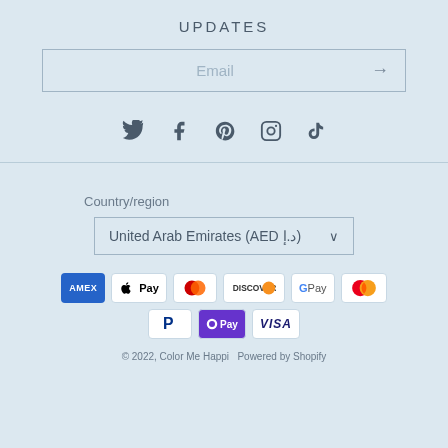UPDATES
[Figure (screenshot): Email input field with placeholder text 'Email' and a right arrow button]
[Figure (infographic): Social media icons: Twitter, Facebook, Pinterest, Instagram, TikTok]
Country/region
[Figure (screenshot): Dropdown selector showing 'United Arab Emirates (AED د.إ)']
[Figure (infographic): Payment method logos: AMEX, Apple Pay, Diners Club, Discover, Google Pay, Mastercard, PayPal, OPay, VISA]
© 2022, Color Me Happi  Powered by Shopify